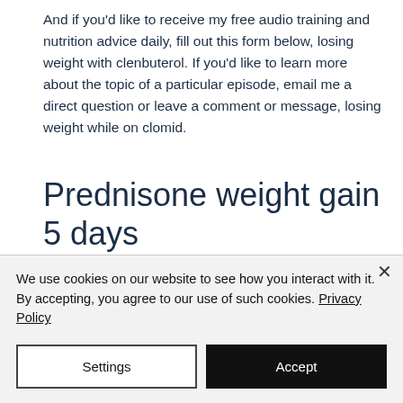And if you'd like to receive my free audio training and nutrition advice daily, fill out this form below, losing weight with clenbuterol. If you'd like to learn more about the topic of a particular episode, email me a direct question or leave a comment or message, losing weight while on clomid.
Prednisone weight gain 5 days
I was put on prednisone steroid for 5 days after I went to my doctor last Thursday wif a cough and slightly tight chest.The cough
We use cookies on our website to see how you interact with it. By accepting, you agree to our use of such cookies. Privacy Policy